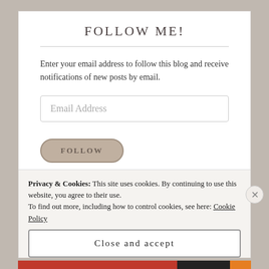FOLLOW ME!
Enter your email address to follow this blog and receive notifications of new posts by email.
Email Address
FOLLOW
Join 1,056 other followers
Privacy & Cookies: This site uses cookies. By continuing to use this website, you agree to their use.
To find out more, including how to control cookies, see here: Cookie Policy
Close and accept